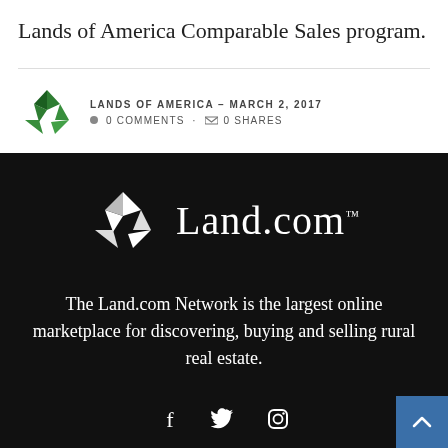Lands of America Comparable Sales program.
LANDS OF AMERICA – MARCH 2, 2017  0 COMMENTS · 0 SHARES
[Figure (logo): Lands of America / Land.com logo — white geometric pentagon-like shape on black background with 'Land.com' text]
The Land.com Network is the largest online marketplace for discovering, buying and selling rural real estate.
[Figure (other): Social media icons: Facebook, Twitter, Instagram]